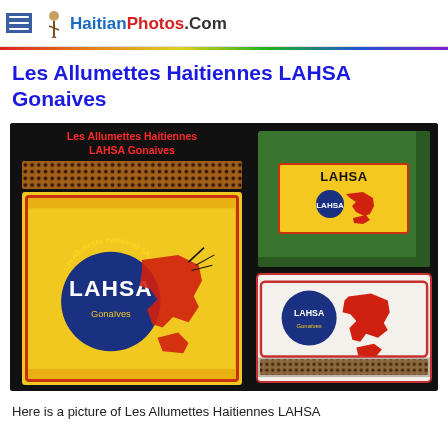HaitianPhotos.Com
Les Allumettes Haitiennes LAHSA Gonaives
[Figure (photo): Photo composite showing LAHSA Gonaives matchboxes: a yellow matchbox label with map of Haiti and LAHSA Gonaives logo on left, a green box with LAHSA label in center-right, and a small white matchbook with Haiti map at bottom-right. Red text reads 'Les Allumettes Haitiennes LAHSA Gonaives' on black background.]
Here is a picture of Les Allumettes Haitiennes LAHSA